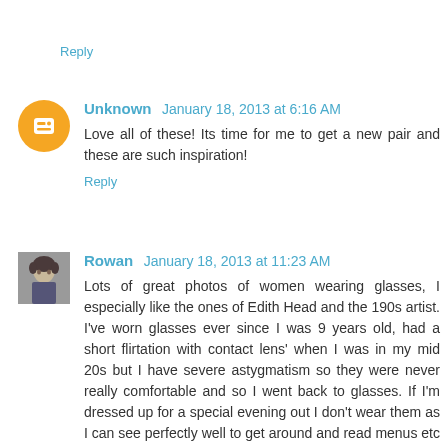Reply
Unknown  January 18, 2013 at 6:16 AM
Love all of these! Its time for me to get a new pair and these are such inspiration!
Reply
Rowan  January 18, 2013 at 11:23 AM
Lots of great photos of women wearing glasses, I especially like the ones of Edith Head and the 190s artist. I've worn glasses ever since I was 9 years old, had a short flirtation with contact lens' when I was in my mid 20s but I have severe astygmatism so they were never really comfortable and so I went back to glasses. If I'm dressed up for a special evening out I don't wear them as I can see perfectly well to get around and read menus etc but other than that they go on as soon as I get up and stay on until I go to bed.